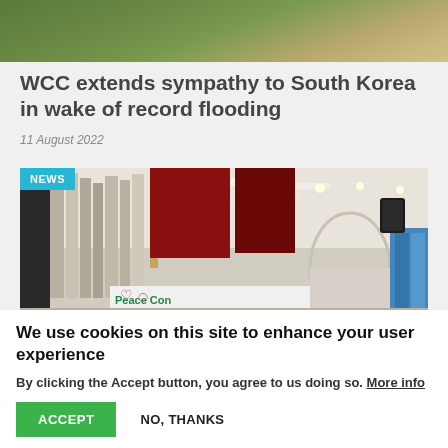[Figure (photo): Aerial or landscape photo showing green hills and terrain, partially cropped at top of page]
WCC extends sympathy to South Korea in wake of record flooding
11 August 2022
[Figure (photo): Interior of a church with organ pipes, banners, recessed lighting, and a 'Peace Concert' banner visible. NEWS badge in top-left corner.]
We use cookies on this site to enhance your user experience
By clicking the Accept button, you agree to us doing so. More info
ACCEPT   NO, THANKS